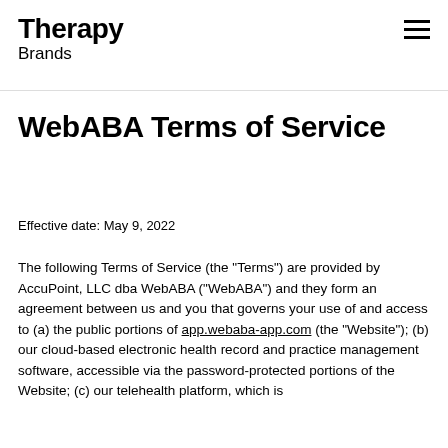Therapy Brands
WebABA Terms of Service
Effective date: May 9, 2022
The following Terms of Service (the "Terms") are provided by AccuPoint, LLC dba WebABA ("WebABA") and they form an agreement between us and you that governs your use of and access to (a) the public portions of app.webaba-app.com (the "Website"); (b) our cloud-based electronic health record and practice management software, accessible via the password-protected portions of the Website; (c) our telehealth platform, which is